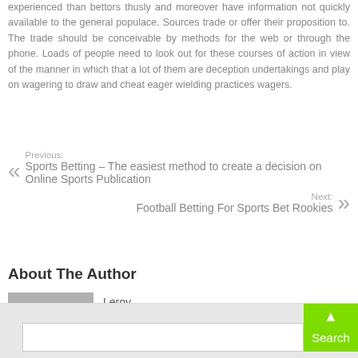experienced than bettors thusly and moreover have information not quickly available to the general populace. Sources trade or offer their proposition to. The trade should be conceivable by methods for the web or through the phone. Loads of people need to look out for these courses of action in view of the manner in which that a lot of them are deception undertakings and play on wagering to draw and cheat eager wielding practices wagers.
Previous: Sports Betting – The easiest method to create a decision on Online Sports Publication
Next: Football Betting For Sports Bet Rookies
About The Author
Leroy
[Figure (photo): Generic user avatar silhouette on grey background]
Search